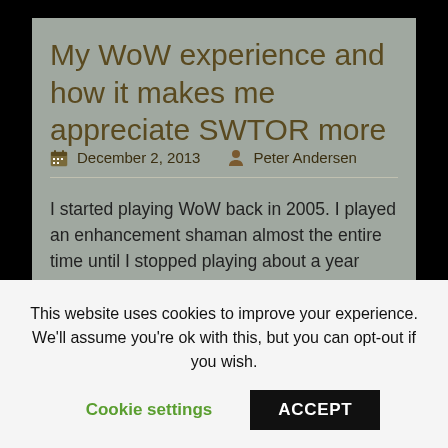My WoW experience and how it makes me appreciate SWTOR more
December 2, 2013   Peter Andersen
I started playing WoW back in 2005. I played an enhancement shaman almost the entire time until I stopped playing about a year ago. I've seen what started as a really terrible, unfocused class spec dramatically improve, get tweaked, and finish off into mediocrity. Coming from that
This website uses cookies to improve your experience. We'll assume you're ok with this, but you can opt-out if you wish.